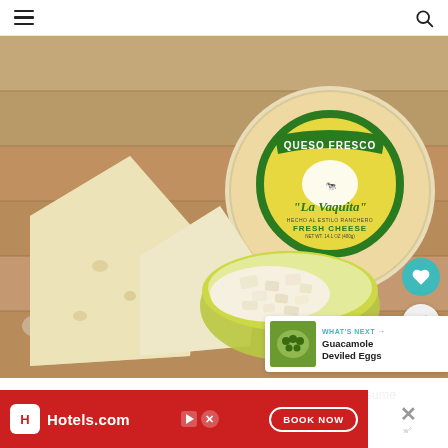Navigation header with hamburger menu and search icon
[Figure (photo): Queso Fresco La Vaquita brand cheese wheel with label, cheese wedges, and crumbled cheese in a small green bowl on a rustic wooden surface]
WHAT'S NEXT → Guacamole Deviled Eggs
This website uses cookies to improve your experience. We'll assume
[Figure (screenshot): Hotels.com advertisement banner with red background, Hotels.com logo, and BOOK NOW button]